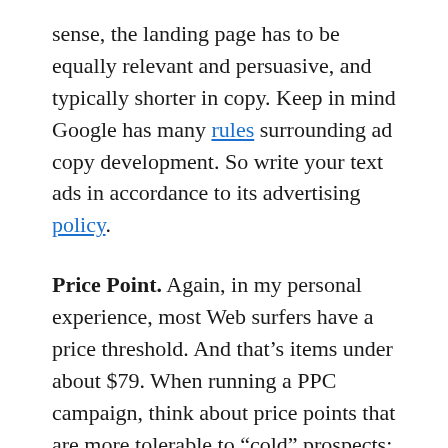sense, the landing page has to be equally relevant and persuasive, and typically shorter in copy. Keep in mind Google has many rules surrounding ad copy development. So write your text ads in accordance to its advertising policy.
Price Point. Again, in my personal experience, most Web surfers have a price threshold. And that's items under about $79. When running a PPC campaign, think about price points that are more tolerable to “cold” prospects; that is, people who haven't built a relationship with you or know anything about you. They have no brand loyalty. They don’t know you from Adam. So getting a sale at a lower price point is an